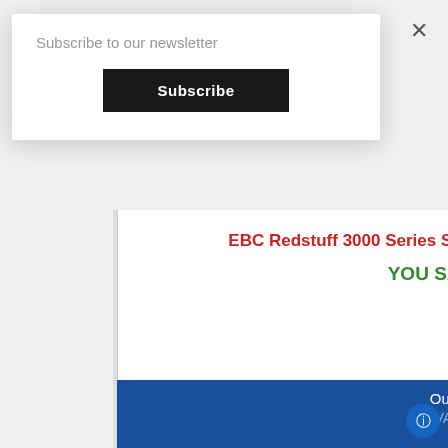Subscribe to our newsletter
Subscribe
EBC Redstuff 3000 Series Sport Brake Pad Set To Fit Rear
YOU SAVE £7.92
Our Price
Ex VAT £59.40